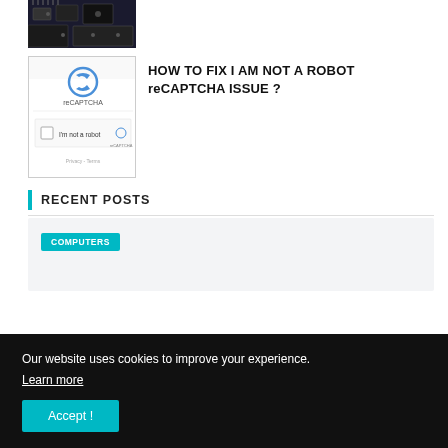[Figure (photo): Partial view of a computer circuit board/CPU chip, dark tones, top of page]
[Figure (screenshot): reCAPTCHA widget showing 'I'm not a robot' checkbox with reCAPTCHA branding]
HOW TO FIX I AM NOT A ROBOT reCAPTCHA ISSUE ?
RECENT POSTS
COMPUTERS
Our website uses cookies to improve your experience. Learn more
Accept !